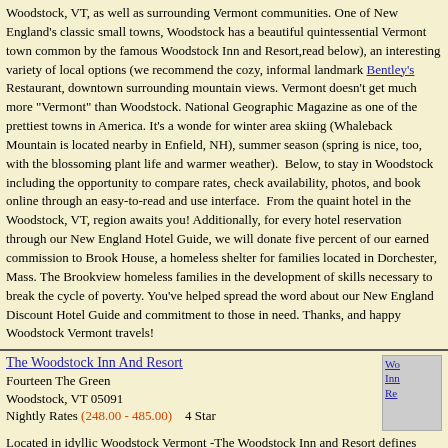Woodstock, VT, as well as surrounding Vermont communities. One of New England's classic small towns, Woodstock has a beautiful quintessential Vermont town common (anchored by the famous Woodstock Inn and Resort,read below), an interesting variety of local dining options (we recommend the cozy, informal landmark Bentley's Restaurant, downtown with surrounding mountain views. Vermont doesn't get much more "Vermont" than Woodstock. National Geographic Magazine as one of the prettiest towns in America. It's a wonderful base for winter area skiing (Whaleback Mountain is located nearby in Enfield, NH), summer season (spring is nice, too, with the blossoming plant life and warmer weather). Below, places to stay in Woodstock including the opportunity to compare rates, check availability, view photos, and book online through an easy-to-read and use interface. From the quaint to luxurious, hotel in the Woodstock, VT, region awaits you! Additionally, for every hotel reservation made through our New England Hotel Guide, we will donate five percent of our earned commission to Brook House, a homeless shelter for families located in Dorchester, Mass. The Brookview assists homeless families in the development of skills necessary to break the cycle of poverty. You've helped spread the word about our New England Discount Hotel Guide and commitment to those in need. Thanks, and happy Woodstock Vermont travels!
The Woodstock Inn And Resort
Fourteen The Green
Woodstock, VT 05091
Nightly Rates (248.00 - 485.00)   4 Star
Located in idyllic Woodstock Vermont -The Woodstock Inn and Resort defines country sophistication. One of the most charming and popular year-round vacation destinations in New England. Our 142-room -
Nearby Cities:
Claremont , Enfield , Hanover , Lebanon , Mount Sunapee , Brownsville , Cavendish , Killington , Ludlow , Norwich , Quechee , Rutland , Springfield , White River Junction